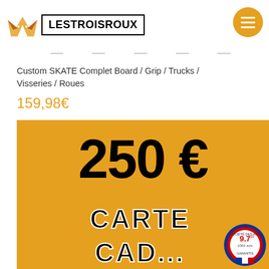LESTROISROUX
Custom SKATE Complet Board / Grip / Trucks / Visseries / Roues
159,98€
[Figure (illustration): Orange gift card showing '250 € CARTE CADEAU' with fox logo at bottom, and a review badge showing 9.7/10 with 1069 reviews]